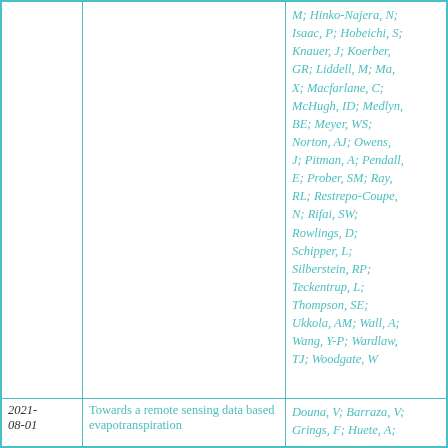| Date | Title | Authors |
| --- | --- | --- |
|  |  | M; Hinko-Najera, N; Isaac, P; Hobeichi, S; Knauer, J; Koerber, GR; Liddell, M; Ma, X; Macfarlane, C; McHugh, ID; Medlyn, BE; Meyer, WS; Norton, AJ; Owens, J; Pitman, A; Pendall, E; Prober, SM; Ray, RL; Restrepo-Coupe, N; Rifai, SW; Rowlings, D; Schipper, L; Silberstein, RP; Teckentrup, L; Thompson, SE; Ukkola, AM; Wall, A; Wang, Y-P; Wardlaw, TJ; Woodgate, W |
| 2021-08-01 | Towards a remote sensing data based evapotranspiration | Douna, V; Barraza, V; Grings, F; Huete, A; |